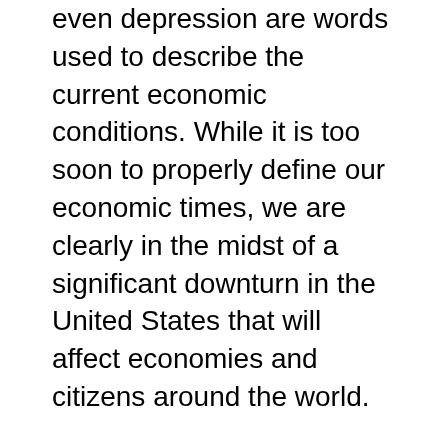even depression are words used to describe the current economic conditions. While it is too soon to properly define our economic times, we are clearly in the midst of a significant downturn in the United States that will affect economies and citizens around the world.
Indicators of the distressed economy include a sharp drop in housing prices, a credit crunch due to the subprime mortgage debacle, rising unemployment, rapidly increasing oil prices, the falling value of the dollar, large trade imbalances, and expanding price inflation. Just in case you need to pile on more, a prolonged and unpopular war and a pivotal presidential election amplify uncertainty in the U.S. Together these factors